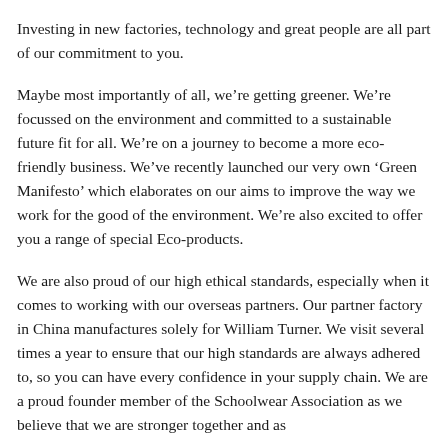Investing in new factories, technology and great people are all part of our commitment to you.
Maybe most importantly of all, we’re getting greener. We’re focussed on the environment and committed to a sustainable future fit for all. We’re on a journey to become a more eco-friendly business. We’ve recently launched our very own ‘Green Manifesto’ which elaborates on our aims to improve the way we work for the good of the environment. We’re also excited to offer you a range of special Eco-products.
We are also proud of our high ethical standards, especially when it comes to working with our overseas partners. Our partner factory in China manufactures solely for William Turner. We visit several times a year to ensure that our high standards are always adhered to, so you can have every confidence in your supply chain. We are a proud founder member of the Schoolwear Association as we believe that we are stronger together and as